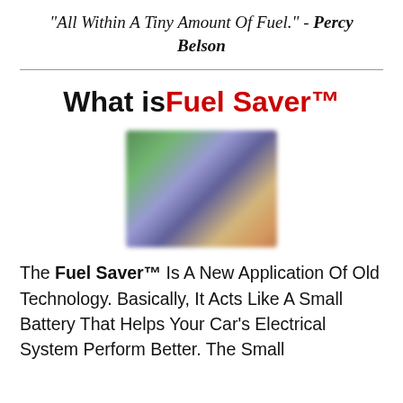"All Within A Tiny Amount Of Fuel." - Percy Belson
What is Fuel Saver™
[Figure (photo): A blurred/pixelated photo showing what appears to be a person near a car, with green and orange tones.]
The Fuel Saver™ Is A New Application Of Old Technology. Basically, It Acts Like A Small Battery That Helps Your Car's Electrical System Perform Better. The Small